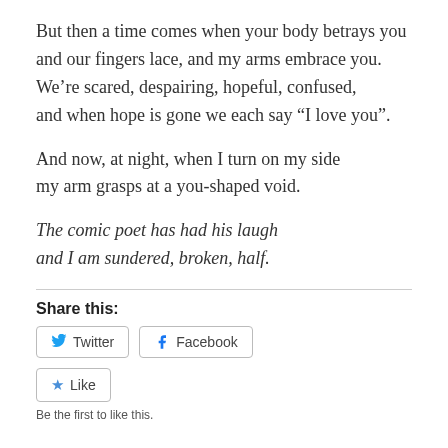But then a time comes when your body betrays you
and our fingers lace, and my arms embrace you.
We’re scared, despairing, hopeful, confused,
and when hope is gone we each say “I love you”.
And now, at night, when I turn on my side
my arm grasps at a you-shaped void.
The comic poet has had his laugh
and I am sundered, broken, half.
Share this:
[Figure (screenshot): Twitter and Facebook share buttons, and a Like button with star icon. Below: 'Be the first to like this.']